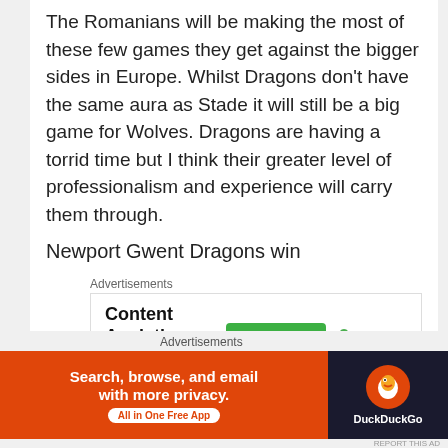The Romanians will be making the most of these few games they get against the bigger sides in Europe. Whilst Dragons don't have the same aura as Stade it will still be a big game for Wolves. Dragons are having a torrid time but I think their greater level of professionalism and experience will carry them through.
Newport Gwent Dragons win
[Figure (screenshot): Advertisement banner for Parse.ly with text 'Content Analytics Made Easy', a green 'Get A Demo →' button, and the Parse.ly logo]
Cardiff Blues v London Irish
[Figure (screenshot): Bottom advertisement banner for DuckDuckGo: 'Search, browse, and email with more privacy. All in One Free App' with DuckDuckGo logo on dark background]